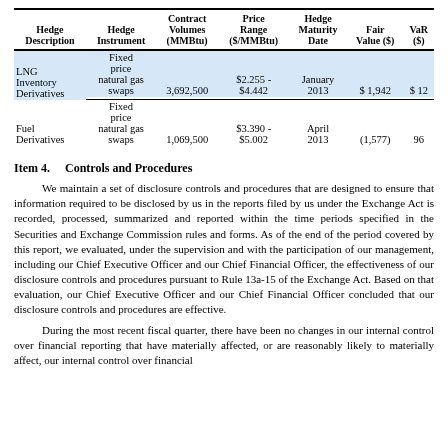| Hedge Description | Hedge Instrument | Contract Volumes (MMBtu) | Price Range ($/MMBtu) | Hedge Maturity Date | Fair Value ($) | VaR ($) |
| --- | --- | --- | --- | --- | --- | --- |
| LNG Inventory Derivatives | Fixed price natural gas swaps | 3,692,500 | $2.255 - $4.442 | January 2013 | $1,942 | $12 |
| Fuel Derivatives | Fixed price natural gas swaps | 1,069,500 | $3.390 - $5.002 | April 2013 | (1,577) | 96 |
Item 4.    Controls and Procedures
We maintain a set of disclosure controls and procedures that are designed to ensure that information required to be disclosed by us in the reports filed by us under the Exchange Act is recorded, processed, summarized and reported within the time periods specified in the Securities and Exchange Commission rules and forms. As of the end of the period covered by this report, we evaluated, under the supervision and with the participation of our management, including our Chief Executive Officer and our Chief Financial Officer, the effectiveness of our disclosure controls and procedures pursuant to Rule 13a-15 of the Exchange Act. Based on that evaluation, our Chief Executive Officer and our Chief Financial Officer concluded that our disclosure controls and procedures are effective.
During the most recent fiscal quarter, there have been no changes in our internal control over financial reporting that have materially affected, or are reasonably likely to materially affect, our internal control over financial